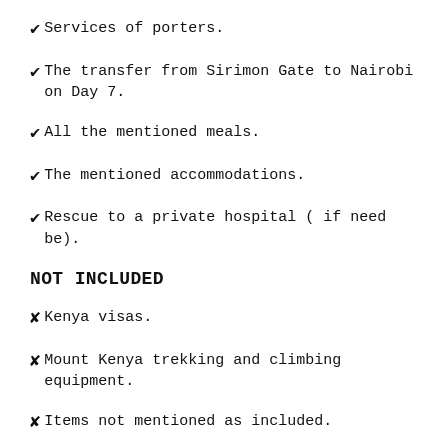✔Services of porters.
✔The transfer from Sirimon Gate to Nairobi on Day 7.
✔All the mentioned meals.
✔The mentioned accommodations.
✔Rescue to a private hospital ( if need be).
NOT INCLUDED
✘Kenya visas.
✘Mount Kenya trekking and climbing equipment.
✘Items not mentioned as included.